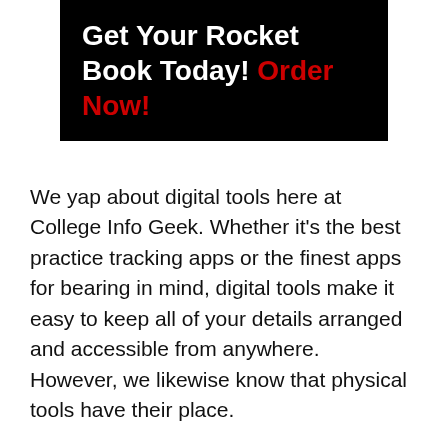Get Your Rocket Book Today! Order Now!
We yap about digital tools here at College Info Geek. Whether it's the best practice tracking apps or the finest apps for bearing in mind, digital tools make it easy to keep all of your details arranged and accessible from anywhere. However, we likewise know that physical tools have their place.
However standard paper notebooks do not provide the ease of company as digital note-taking systems. Plus, if you lose the notebook (or forget to bring it with you), you can't